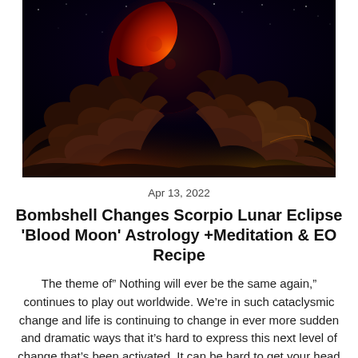[Figure (photo): A dramatic photo of a blood moon (red lunar eclipse) rising above dark storm clouds against a deep blue-black starry night sky. The moon glows in vivid orange-red tones with clouds illuminated beneath it.]
Apr 13, 2022
Bombshell Changes Scorpio Lunar Eclipse 'Blood Moon' Astrology +Meditation & EO Recipe
The theme of” Nothing will ever be the same again,” continues to play out worldwide. We’re in such cataclysmic change and life is continuing to change in ever more sudden and dramatic ways that it’s hard to express this next level of change that’s been activated. It can be hard to get your head wrapped around what has been happening